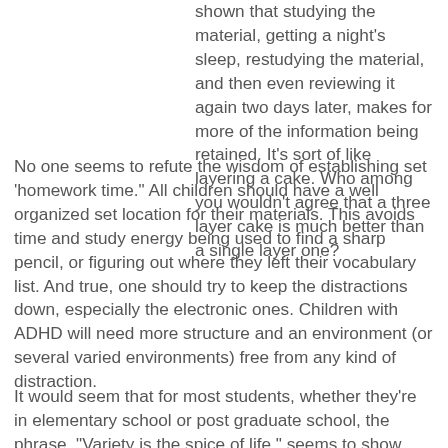shown that studying the material, getting a night's sleep, restudying the material, and then even reviewing it again two days later, makes for more of the information being retained. It's sort of like layering a cake. Who among you wouldn't agree that a three layer cake is much better than a single layer one?
No one seems to refute the wisdom of establishing set 'homework time." All children should have a well organized set location for their materials. This avoids time and study energy being used to find a sharp pencil, or figuring out where they left their vocabulary list. And true, one should try to keep the distractions down, especially the electronic ones. Children with ADHD will need more structure and an environment (or several varied environments) free from any kind of distraction.
It would seem that for most students, whether they're in elementary school or post graduate school, the phrase, "Variety is the spice of life," seems to show